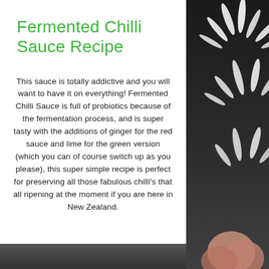Fermented Chilli Sauce Recipe
This sauce is totally addictive and you will want to have it on everything! Fermented Chilli Sauce is full of probiotics because of the fermentation process, and is super tasty with the additions of ginger for the red sauce and lime for the green version (which you can of course switch up as you please), this super simple recipe is perfect for preserving all those fabulous chilli's that all ripening at the moment if you are here in New Zealand.
[Figure (photo): White flower petals and what appears to be a hand or red chilli at the bottom, photographed against a dark background, occupying the right column of the page.]